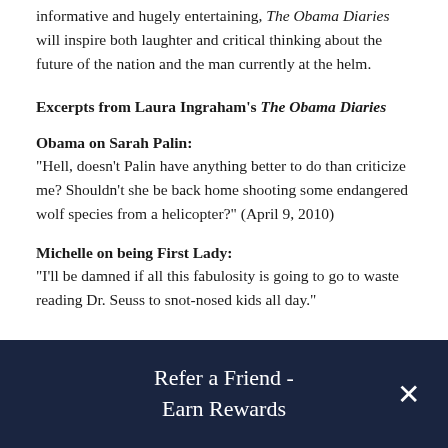informative and hugely entertaining, The Obama Diaries will inspire both laughter and critical thinking about the future of the nation and the man currently at the helm.
Excerpts from Laura Ingraham's The Obama Diaries
Obama on Sarah Palin:
"Hell, doesn't Palin have anything better to do than criticize me? Shouldn't she be back home shooting some endangered wolf species from a helicopter?" (April 9, 2010)
Michelle on being First Lady:
"I'll be damned if all this fabulosity is going to go to waste reading Dr. Seuss to snot-nosed kids all day."
Refer a Friend - Earn Rewards